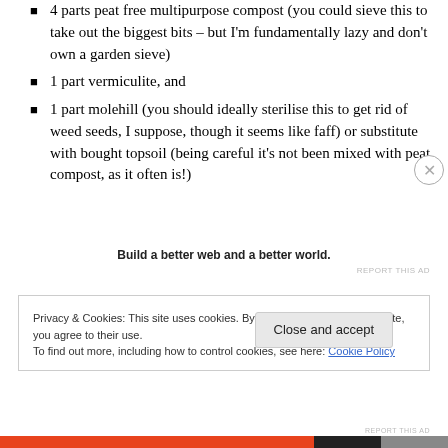4 parts peat free multipurpose compost (you could sieve this to take out the biggest bits – but I'm fundamentally lazy and don't own a garden sieve)
1 part vermiculite, and
1 part molehill (you should ideally sterilise this to get rid of weed seeds, I suppose, though it seems like faff) or substitute with bought topsoil (being careful it's not been mixed with peat compost, as it often is!)
Build a better web and a better world.
REPORT THIS AD
Privacy & Cookies: This site uses cookies. By continuing to use this website, you agree to their use.
To find out more, including how to control cookies, see here: Cookie Policy
Close and accept